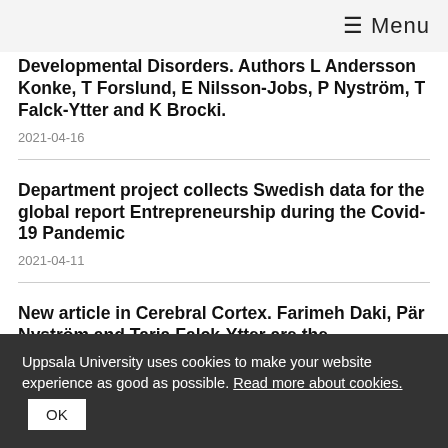≡ Menu
Developmental Disorders. Authors L Andersson Konke, T Forslund, E Nilsson-Jobs, P Nyström, T Falck-Ytter and K Brocki.
2021-04-16
Department project collects Swedish data for the global report Entrepreneurship during the Covid-19 Pandemic
2021-04-11
New article in Cerebral Cortex. Farimeh Daki, Pär Nyström and Tarja Falck-Ytter are the ...
Uppsala University uses cookies to make your website experience as good as possible. Read more about cookies.